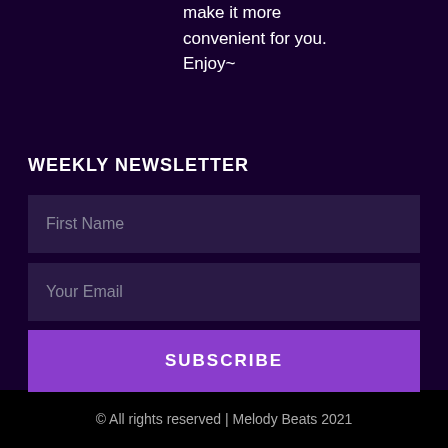make it more convenient for you. Enjoy~
WEEKLY NEWSLETTER
First Name
Your Email
SUBSCRIBE
© All rights reserved | Melody Beats 2021